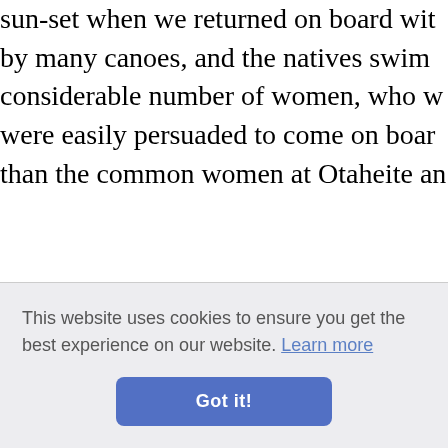sun-set when we returned on board with by many canoes, and the natives swim considerable number of women, who w were easily persuaded to come on boar than the common women at Otaheite an
[4] "He was drest in mats, one of whic drawn over his shoulders. He resemble his attention could not be fixed to one prevail on him to sit still whilst Mr Hoo my father prepared to return to the sho he happened to see an Otaheitean dog conceal his joy, but clapped his hands ... We we his coun xtacy of
his day t on, and v continue whilst many were swimming to and fr
[Figure (screenshot): Cookie consent overlay with text 'This website uses cookies to ensure you get the best experience on our website. Learn more' and a blue 'Got it!' button.]